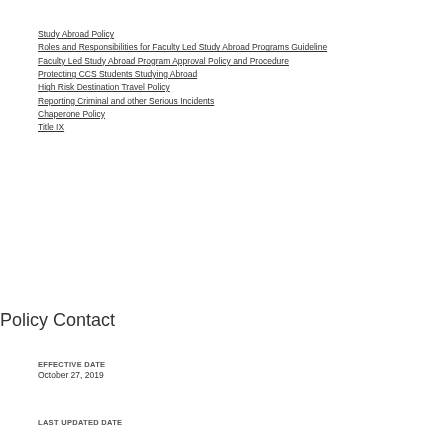Study Abroad Policy
Roles and Responsibilities for Faculty Led Study Abroad Programs Guideline
Faculty Led Study Abroad Program Approval Policy and Procedure
Protecting CCS Students Studying Abroad
High Risk Destination Travel Policy
Reporting Criminal and other Serious Incidents
Chaperone Policy
Title IX
Policy Contact
EFFECTIVE DATE
October 27, 2019
LAST UPDATED DATE